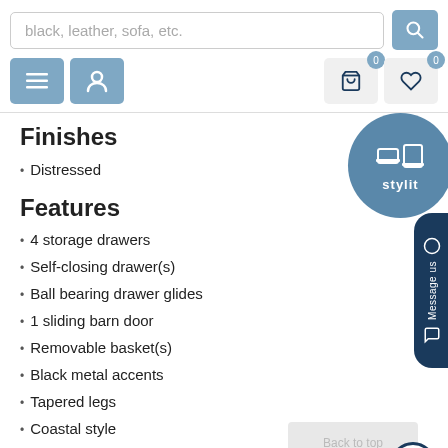[Figure (screenshot): Website header with search bar showing placeholder text 'black, leather, sofa, etc.', a blue search button, navigation buttons (hamburger menu, user icon) in blue, and cart/wishlist icons with badge count of 0]
Finishes
Distressed
Features
4 storage drawers
Self-closing drawer(s)
Ball bearing drawer glides
1 sliding barn door
Removable basket(s)
Black metal accents
Tapered legs
Coastal style
Distressed pattern
Metal handle (s)